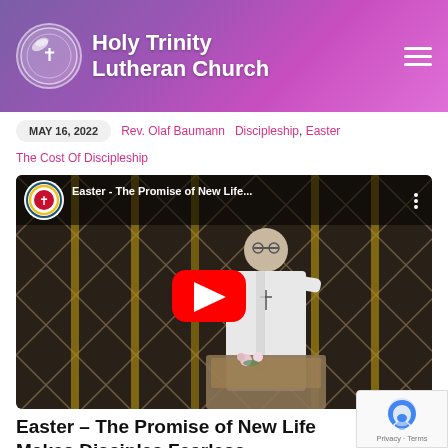Holy Trinity Lutheran Church
MAY 16, 2022  Rev. Olaf Baumann  Discipleship, Easter  The Cost Of Discipleship
[Figure (screenshot): YouTube video embed thumbnail showing a pastor in white robes at a pulpit with a geometric gold lattice background. Video title: Easter - The Promise of New Life... with Holy Trinity Lutheran Church logo and YouTube play button overlay.]
Easter – The Promise of New Life Makes Disciples Fearless